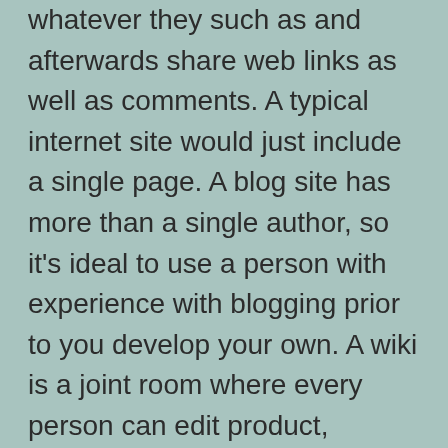whatever they such as and afterwards share web links as well as comments. A typical internet site would just include a single page. A blog site has more than a single author, so it's ideal to use a person with experience with blogging prior to you develop your own. A wiki is a joint room where every person can edit product, consisting of photos. Additional hints
A blog is a website that includes a series of individual web pages. It is commonly referred to as a web site. The function of a blog is to bring in visitors and also customers to an internet site. It is an excellent means to raise